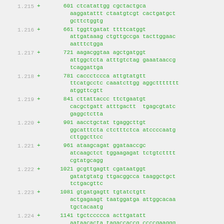1.215 + 601 ctcatattgg cgctactgca aaggatattt ctaatgtcgt cactgatgct gcttctggtg
1.216 + 661 tggttgatat ttttcatggt attgataaag ctgttgccga tacttggaac aatttctgga
1.217 + 721 aagacggtaa agctgatggt attggctcta atttgtctag gaaataaccg tcaggattga
1.218 + 781 caccctccca attgtatgtt ttcatgcctc caaatcttgg aggcttttt atggttcgtt
1.219 + 841 cttattaccc ttctgaatgt cacgctgatt atttgactt tgagcgtatc gaggctctta
1.220 + 901 aacctgctat tgaggcttgt ggcatttcta ctctttctca atccccaatg cttggcttcc
1.221 + 961 ataagcagat ggataaccgc atcaagctct tggaagagat tctgtctttt cgtatgcagg
1.222 + 1021 gcgttgagtt cgataatggt gatatgtatg ttgacggcca taaggctgct tctgacgttc
1.223 + 1081 gtgatgagtt tgtatctgtt actgagaagt taatggatga attggcacaa tgctacaatg
1.224 + 1141 tgctccccca acttgatatt aataacacta tagaccaccg ccccgaaggg gacgaaaaat
1.225 + 1201 ggtttttaga gaacgagaag